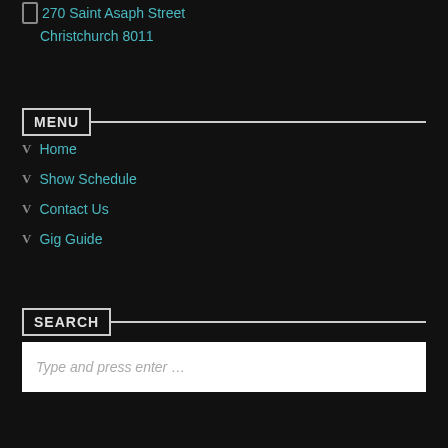270 Saint Asaph Street
Christchurch 8011
MENU
Home
Show Schedule
Contact Us
Gig Guide
SEARCH
Type and press enter …